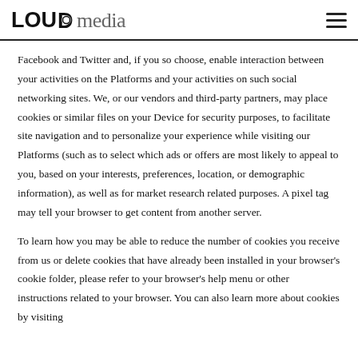LOUD media
Facebook and Twitter and, if you so choose, enable interaction between your activities on the Platforms and your activities on such social networking sites. We, or our vendors and third-party partners, may place cookies or similar files on your Device for security purposes, to facilitate site navigation and to personalize your experience while visiting our Platforms (such as to select which ads or offers are most likely to appeal to you, based on your interests, preferences, location, or demographic information), as well as for market research related purposes. A pixel tag may tell your browser to get content from another server.
To learn how you may be able to reduce the number of cookies you receive from us or delete cookies that have already been installed in your browser's cookie folder, please refer to your browser's help menu or other instructions related to your browser. You can also learn more about cookies by visiting